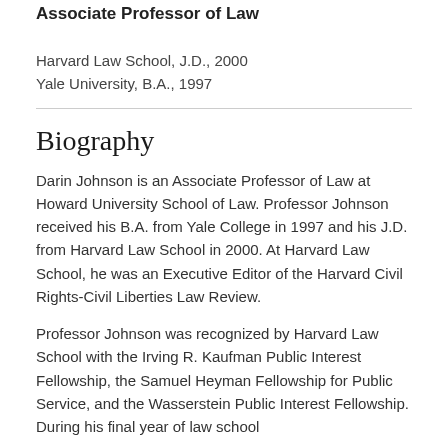Associate Professor of Law
Harvard Law School, J.D., 2000
Yale University, B.A., 1997
Biography
Darin Johnson is an Associate Professor of Law at Howard University School of Law. Professor Johnson received his B.A. from Yale College in 1997 and his J.D. from Harvard Law School in 2000. At Harvard Law School, he was an Executive Editor of the Harvard Civil Rights-Civil Liberties Law Review.
Professor Johnson was recognized by Harvard Law School with the Irving R. Kaufman Public Interest Fellowship, the Samuel Heyman Fellowship for Public Service, and the Wasserstein Public Interest Fellowship. During his final year of law school